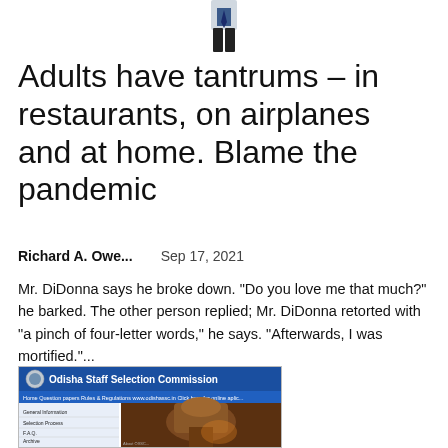[Figure (photo): Partial image of a person in a suit, cropped at waist, visible from waist down at the top of the page]
Adults have tantrums – in restaurants, on airplanes and at home. Blame the pandemic
Richard A. Owe...    Sep 17, 2021
Mr. DiDonna says he broke down. "Do you love me that much?" he barked. The other person replied; Mr. DiDonna retorted with "a pinch of four-letter words," he says. "Afterwards, I was mortified."...
[Figure (screenshot): Screenshot of Odisha Staff Selection Commission website showing navigation menu and a photo of an ornate temple sculpture]